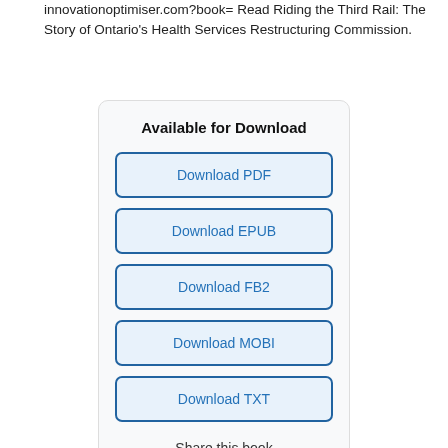innovationoptimiser.com?book= Read Riding the Third Rail: The Story of Ontario's Health Services Restructuring Commission.
Available for Download
Download PDF
Download EPUB
Download FB2
Download MOBI
Download TXT
Share this book
[Figure (infographic): Social share icons: Facebook (blue), Twitter (cyan), Pinterest (red), Telegram (light blue)]